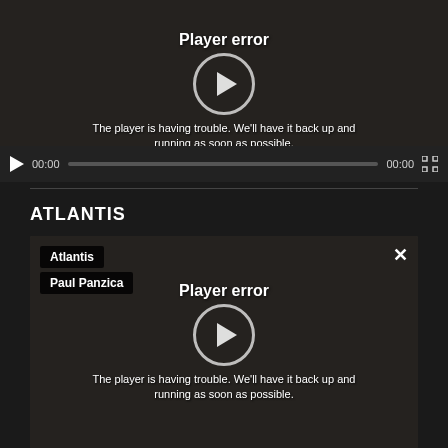[Figure (screenshot): Video player with error overlay showing 'Player error' message and playback controls showing 00:00 timestamps]
ATLANTIS
[Figure (screenshot): Second video player with 'Atlantis' and 'Paul Panzica' tags, close button, and player error overlay]